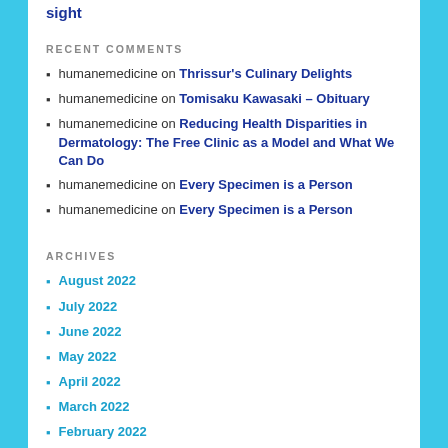sight
RECENT COMMENTS
humanemedicine on Thrissur's Culinary Delights
humanemedicine on Tomisaku Kawasaki – Obituary
humanemedicine on Reducing Health Disparities in Dermatology: The Free Clinic as a Model and What We Can Do
humanemedicine on Every Specimen is a Person
humanemedicine on Every Specimen is a Person
ARCHIVES
August 2022
July 2022
June 2022
May 2022
April 2022
March 2022
February 2022
January 2022
November 2021